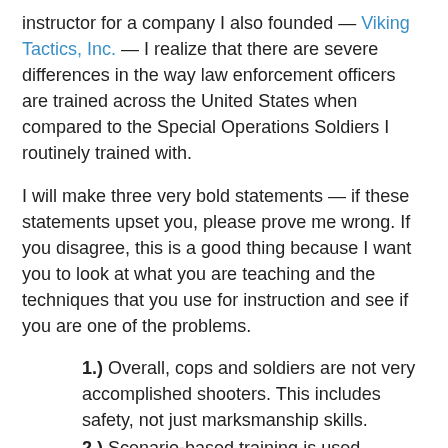instructor for a company I also founded — Viking Tactics, Inc. — I realize that there are severe differences in the way law enforcement officers are trained across the United States when compared to the Special Operations Soldiers I routinely trained with.
I will make three very bold statements — if these statements upset you, please prove me wrong. If you disagree, this is a good thing because I want you to look at what you are teaching and the techniques that you use for instruction and see if you are one of the problems.
1.) Overall, cops and soldiers are not very accomplished shooters. This includes safety, not just marksmanship skills.
2.) Scenario-based training is used improperly in most LE agencies.
3.) Speed counts